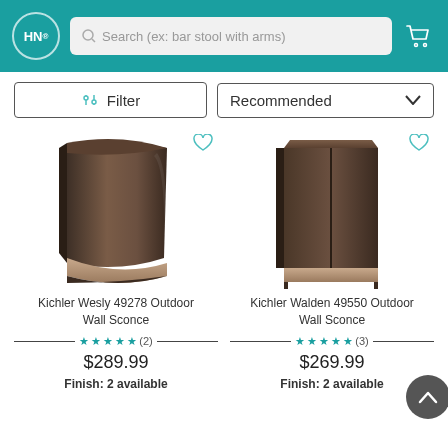HN Search (ex: bar stool with arms)
Filter | Recommended
[Figure (photo): Kichler Wesly 49278 Outdoor Wall Sconce - bronze curved wall sconce]
Kichler Wesly 49278 Outdoor Wall Sconce
★★★★★ (2) $289.99 Finish: 2 available
[Figure (photo): Kichler Walden 49550 Outdoor Wall Sconce - bronze rectangular wall sconce]
Kichler Walden 49550 Outdoor Wall Sconce
★★★★★ (3) $269.99 Finish: 2 available